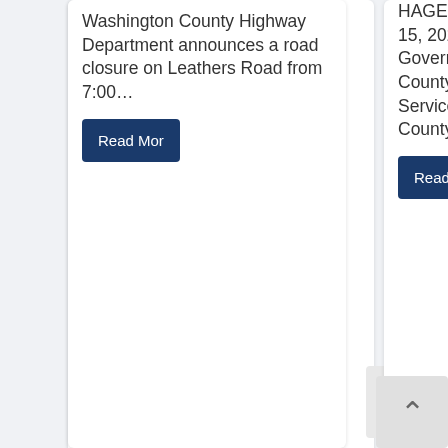Washington County Highway Department announces a road closure on Leathers Road from 7:00…
Read More
HAGERSTOWN, MD (August 15, 2022) – Washington County Government, the Washington County Division of Emergency Services, and the Washington County…
Read More
County Parks and Recreation Department announces registration for fall programs is now…
Read More